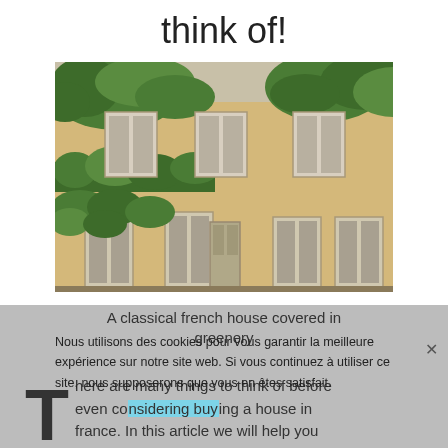think of!
[Figure (photo): A classical French house facade covered in green ivy, with white/grey shutters, two floors of windows, and a central door]
A classical french house covered in greenery
Nous utilisons des cookies pour vous garantir la meilleure expérience sur notre site web. Si vous continuez à utiliser ce site, nous supposerons que vous en êtes satisfait.
There are many things to think of before even considering buying a house in france. In this article we will help you